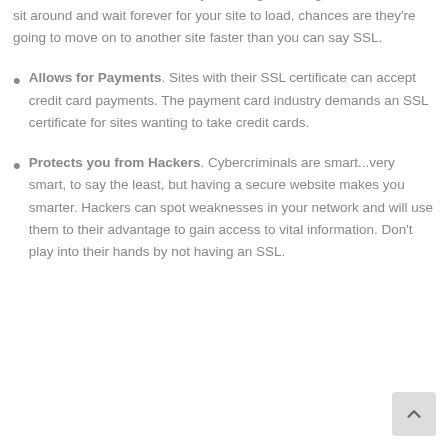to it. This means they upload to the user device very quickly. AMP technology is dependent on a website being secure. The quicker your site can load, the better it is for your Google ranking. If a user has to sit around and wait forever for your site to load, chances are they're going to move on to another site faster than you can say SSL.
Allows for Payments. Sites with their SSL certificate can accept credit card payments. The payment card industry demands an SSL certificate for sites wanting to take credit cards.
Protects you from Hackers. Cybercriminals are smart...very smart, to say the least, but having a secure website makes you smarter. Hackers can spot weaknesses in your network and will use them to their advantage to gain access to vital information. Don't play into their hands by not having an SSL.